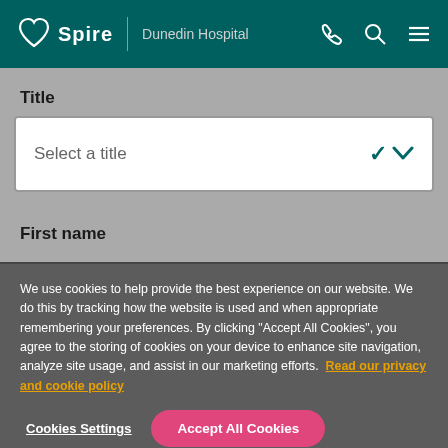Spire | Dunedin Hospital
Title
Select a title
First name
We use cookies to help provide the best experience on our website. We do this by tracking how the website is used and when appropriate remembering your preferences. By clicking "Accept All Cookies", you agree to the storing of cookies on your device to enhance site navigation, analyze site usage, and assist in our marketing efforts.  Read our privacy and cookie policy
Cookies Settings
Accept All Cookies